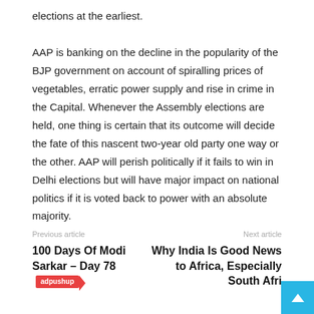elections at the earliest.
AAP is banking on the decline in the popularity of the BJP government on account of spiralling prices of vegetables, erratic power supply and rise in crime in the Capital. Whenever the Assembly elections are held, one thing is certain that its outcome will decide the fate of this nascent two-year old party one way or the other. AAP will perish politically if it fails to win in Delhi elections but will have major impact on national politics if it is voted back to power with an absolute majority.
Previous article
Next article
100 Days Of Modi Sarkar – Day 78
Why India Is Good News to Africa, Especially South Afri